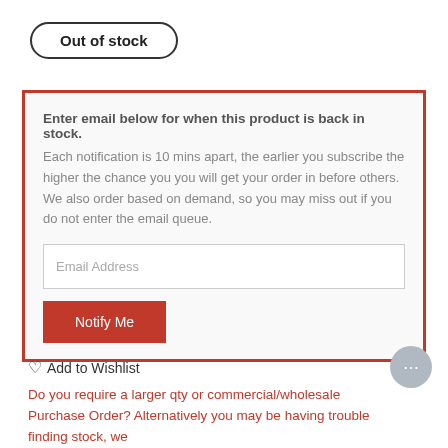Out of stock
Enter email below for when this product is back in stock. Each notification is 10 mins apart, the earlier you subscribe the higher the chance you you will get your order in before others. We also order based on demand, so you may miss out if you do not enter the email queue.
Email Address
Notify Me
Add to Wishlist
Do you require a larger qty or commercial/wholesale Purchase Order? Alternatively you may be having trouble finding stock, we